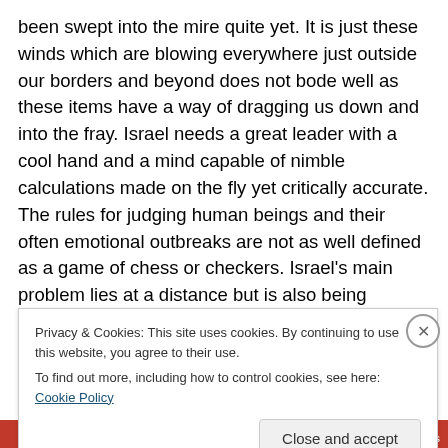been swept into the mire quite yet. It is just these winds which are blowing everywhere just outside our borders and beyond does not bode well as these items have a way of dragging us down and into the fray. Israel needs a great leader with a cool hand and a mind capable of nimble calculations made on the fly yet critically accurate. The rules for judging human beings and their often emotional outbreaks are not as well defined as a game of chess or checkers. Israel's main problem lies at a distance but is also being permitted to enrich uranium and plutonium such they will be a virtual nuclear armed nation, whatever that
Privacy & Cookies: This site uses cookies. By continuing to use this website, you agree to their use. To find out more, including how to control cookies, see here: Cookie Policy
Close and accept